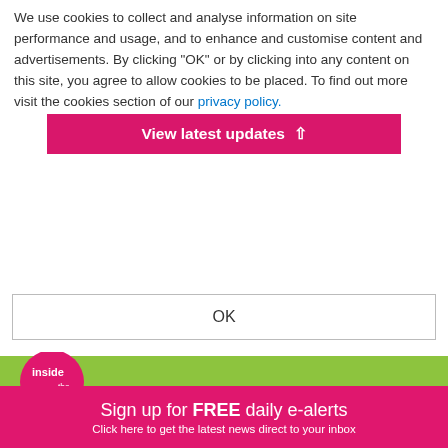We use cookies to collect and analyse information on site performance and usage, and to enhance and customise content and advertisements. By clicking "OK" or by clicking into any content on this site, you agree to allow cookies to be placed. To find out more visit the cookies section of our privacy policy.
[Figure (screenshot): Pink button overlay reading 'View latest updates' with an upward arrow icon]
OK
[Figure (logo): Inside the Games logo - pink circle with 'inside' text, green background with 'the games' text and tagline 'The inside track on world sport']
☰ Menu   🔍 Search   ◀ Share
[Figure (logo): International University sports federation logo with colored stripes and blue curved shape]
INTERNATIONAL UNIVERSITY
Sign up for FREE daily e-alerts
Click here to get the latest news direct to your inbox